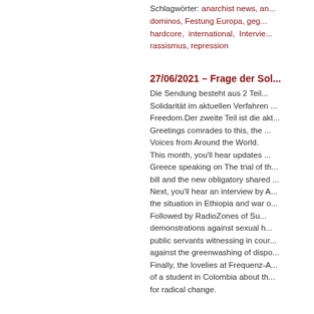Schlagwörter: anarchist news, an... dominos, Festung Europa, geg... hardcore, international, Interview... rassismus, repression
27/06/2021 – Frage der Sol...
Die Sendung besteht aus 2 Tei... Solidarität im aktuellen Verfahren ... Freedom.Der zweite Teil ist die ak... Greetings comrades to this, the ... Voices from Around the World. This month, you'll hear updates ... Greece speaking on The trial of th... bill and the new obligatory shared ... Next, you'll hear an interview by A... the situation in Ethiopia and war o... Followed by RadioZones of Su... demonstrations against sexual h... public servants witnessing in cour... against the greenwashing of dispo... Finally, the lovelies at Frequenz-A... of a student in Colombia about th... for radical change.